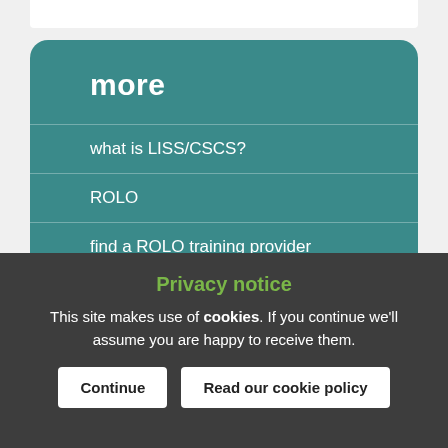more
what is LISS/CSCS?
ROLO
find a ROLO training provider
Privacy notice
This site makes use of cookies. If you continue we'll assume you are happy to receive them.
Continue | Read our cookie policy